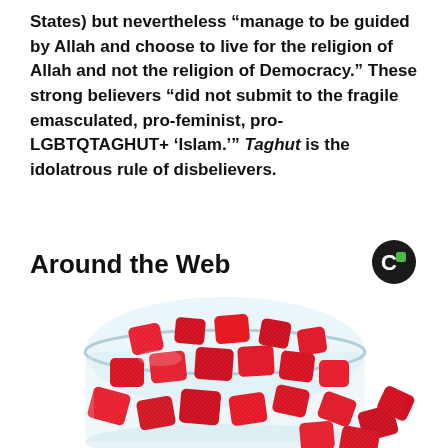States) but nevertheless “manage to be guided by Allah and choose to live for the religion of Allah and not the religion of Democracy.” These strong believers “did not submit to the fragile emasculated, pro-feminist, pro-LGBTQTAGHUT+ ‘Islam.’” Taghut is the idolatrous rule of disbelievers.
Around the Web
[Figure (photo): A glass jar tipped on its side with red sugar-coated gummy candy pieces spilling out onto a white background.]